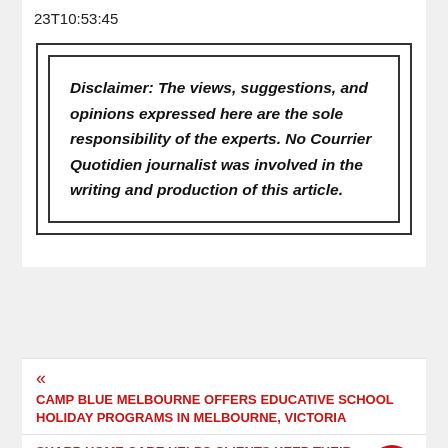23T10:53:45
Disclaimer: The views, suggestions, and opinions expressed here are the sole responsibility of the experts. No Courrier Quotidien journalist was involved in the writing and production of this article.
« CAMP BLUE MELBOURNE OFFERS EDUCATIVE SCHOOL HOLIDAY PROGRAMS IN MELBOURNE, VICTORIA
SHARP HOME CARE HELPS CLIENTS KEEP THEIR LOVED ONES SAFE AT HOME THROUGH COMPASSIONATE, PROFESSIONAL HOME CARE SERVICES IN MARIETTA, GA